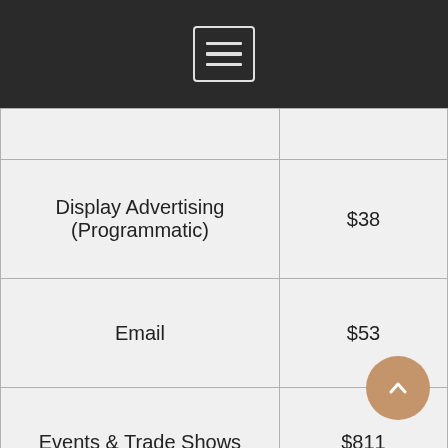Menu/navigation header bar
| Channel | Value |
| --- | --- |
| Display Advertising (Programmatic) | $38 |
| Email | $53 |
| Events & Trade Shows | $811 |
| PR/Earned Media | $294 |
| Referrals | $73 |